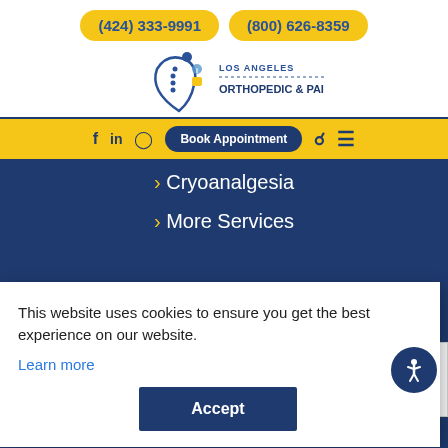(424) 333-9991    (800) 626-8359
[Figure (logo): Los Angeles Orthopedic & Pain Center logo with stylized spine/figure graphic]
f  in  [instagram]  Book Appointment  [search]  [menu]
› Cryoanalgesia
› More Services
This website uses cookies to ensure you get the best experience on our website.
Learn more
Accept
Privacy · Terms
Phone: (800) 626-8359